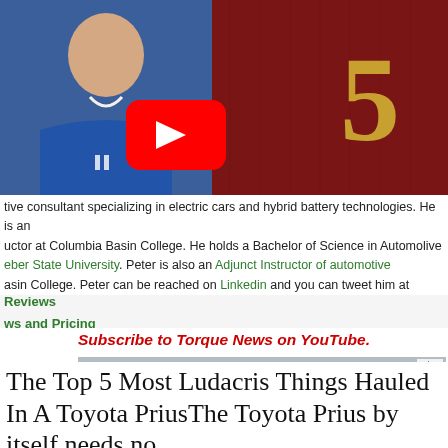[Figure (screenshot): Screenshot of a web page showing a YouTube video thumbnail with a person in a blue shirt on the left and a dark red background with number 5 in gold on the right, plus a YouTube play button overlay]
tive consultant specializing in electric cars and hybrid battery technologies. He is an uctor at Columbia Basin College. He holds a Bachelor of Science in Automolive eber State University. Peter is also an Adjunct Instructor of automotive asin College. Peter can be reached on Linkedin and you can tweet him at
Reviews
ws and Pricing
Subscribe to Torque News on YouTube.
[Figure (photo): Advertisement showing a white Toyota RAV4 SUV on a wet surface]
The Top 5 Most Ludacris Things Hauled In A Toyota PriusThe Toyota Prius by itself needs no